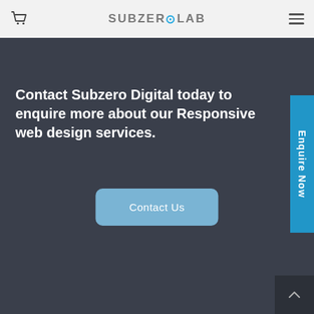Subzero Lab – Navigation bar with cart icon, logo, and hamburger menu
Contact Subzero Digital today to enquire more about our Responsive web design services.
Contact Us
Enquire Now